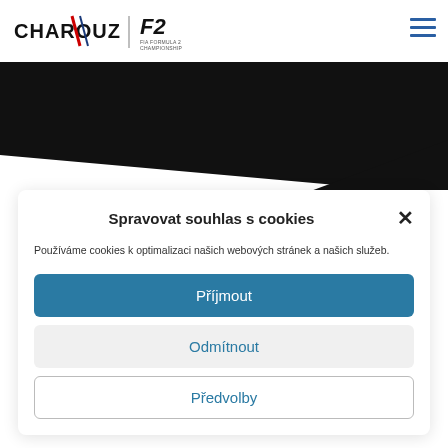[Figure (screenshot): Charouz Racing System and F2 FIA Formula 2 Championship logos in the website header]
[Figure (photo): Black angular hero banner background with diagonal wedge design]
Spravovat souhlas s cookies
Používáme cookies k optimalizaci našich webových stránek a našich služeb.
Příjmout
Odmítnout
Předvolby